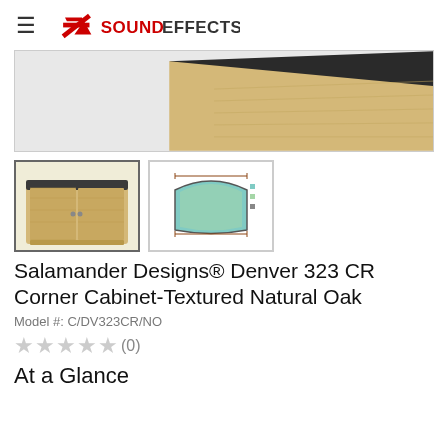Sound Effects logo and hamburger menu
[Figure (photo): Partial top view of Salamander Designs Denver 323 CR Corner Cabinet in Textured Natural Oak, showing angled wooden top surface]
[Figure (photo): Thumbnail: front view of Salamander Designs Denver 323 CR Corner Cabinet in Textured Natural Oak]
[Figure (schematic): Thumbnail: technical diagram/schematic of the corner cabinet showing dimensions from a top-down perspective]
Salamander Designs® Denver 323 CR Corner Cabinet-Textured Natural Oak
Model #: C/DV323CR/NO
★★★★★ (0)
At a Glance